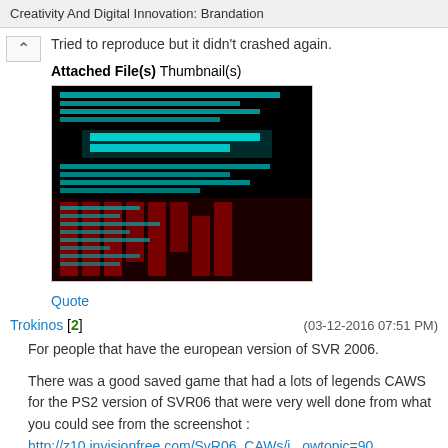Creativity And Digital Innovation: Brandation
Tried to reproduce but it didn't crashed again.
Attached File(s) Thumbnail(s)
[Figure (screenshot): Terminal/debug screenshot with cyan and red text on black background]
Quote
Trokinos [2]
(03-12-2016 07:51 PM)
For people that have the european version of SVR 2006.
There was a good saved game that had a lots of legends CAWS for the PS2 version of SVR06 that were very well done from what you could see from the screenshot :
http://z10.invisionfree.com/SvR06_CAWs/i...owtopic=90
The PS2 save had been converted for the PSP version of SVR 06 (european) as PSP SVR 2006 had connectivity with the PS2 version so you could transfer caws here :
http://caws.ws/svr2006/view/saves/all_legends_save-35